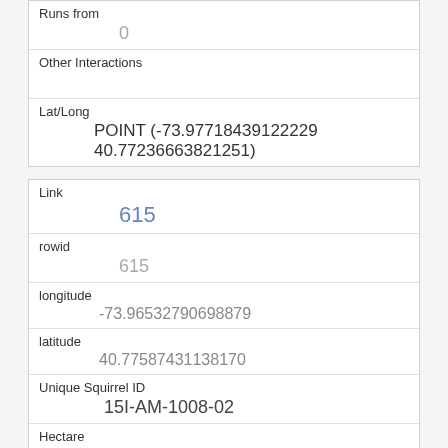| Runs from | 0 |
| Other Interactions |  |
| Lat/Long | POINT (-73.97718439122290 40.77236663821251) |
| Link | 615 |
| rowid | 615 |
| longitude | -73.96532790698879 |
| latitude | 40.77587431138170 |
| Unique Squirrel ID | 15I-AM-1008-02 |
| Hectare | 15I |
| Shift | AM |